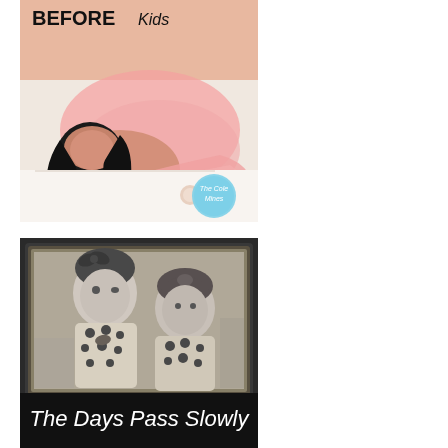[Figure (photo): Woman lying on a bed wearing a pink tutu dress, with dark curly hair, smiling. Text overlay reads 'BEFORE Kids' in bold. Circular badge in corner reads 'The Cole Mines'.]
[Figure (photo): Black and white photo of two young toddler girls in matching polka dot dresses, one with a bow in her hair, leaning over what appears to be a wooden frame or furniture. Text at bottom reads 'The Days Pass Slowly' in cursive.]